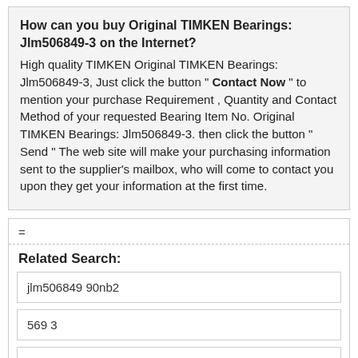How can you buy Original TIMKEN Bearings: Jlm506849-3 on the Internet?
High quality TIMKEN Original TIMKEN Bearings: Jlm506849-3, Just click the button " Contact Now " to mention your purchase Requirement , Quantity and Contact Method of your requested Bearing Item No. Original TIMKEN Bearings: Jlm506849-3. then click the button " Send " The web site will make your purchasing information sent to the supplier's mailbox, who will come to contact you upon they get your information at the first time.
=
Related Search:
jlm506849 90nb2
569 3
jlm710910 2